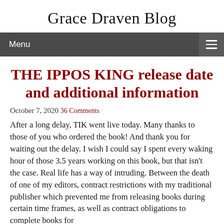Grace Draven Blog
THE IPPOS KING release date and additional information
October 7, 2020  36 Comments
After a long delay, TIK went live today. Many thanks to those of you who ordered the book! And thank you for waiting out the delay. I wish I could say I spent every waking hour of those 3.5 years working on this book, but that isn't the case. Real life has a way of intruding. Between the death of one of my editors, contract restrictions with my traditional publisher which prevented me from releasing books during certain time frames, as well as contract obligations to complete books for